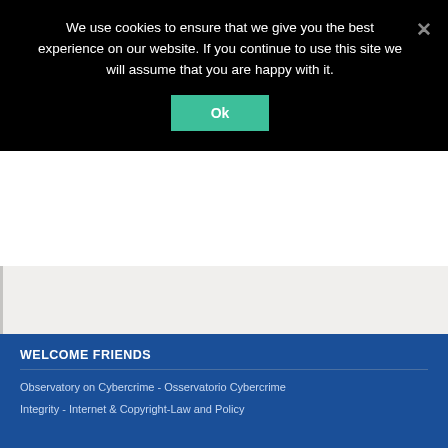We use cookies to ensure that we give you the best experience on our website. If you continue to use this site we will assume that you are happy with it.
Ok
WELCOME FRIENDS
Observatory on Cybercrime - Osservatorio Cybercrime
Integrity - Internet & Copyright-Law and Policy